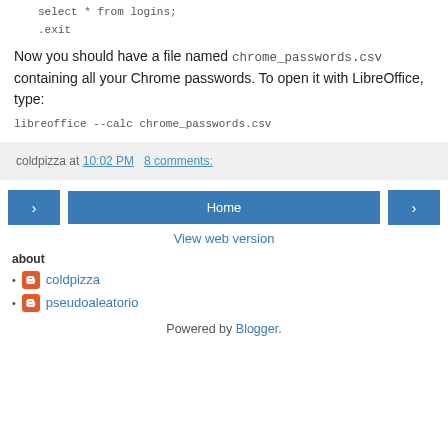select * from logins;
.exit
Now you should have a file named chrome_passwords.csv containing all your Chrome passwords. To open it with LibreOffice, type:
libreoffice --calc chrome_passwords.csv
coldpizza at 10:02 PM   8 comments:
Home
View web version
about
coldpizza
pseudoaleatorio
Powered by Blogger.